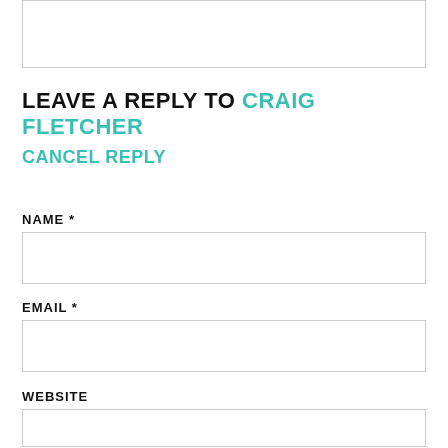[Figure (other): Top portion of a comment/text input box, partially visible at the top of the page]
LEAVE A REPLY TO CRAIG FLETCHER
CANCEL REPLY
NAME *
[Figure (other): Text input field for Name]
EMAIL *
[Figure (other): Text input field for Email]
WEBSITE
[Figure (other): Text input field for Website, partially visible]